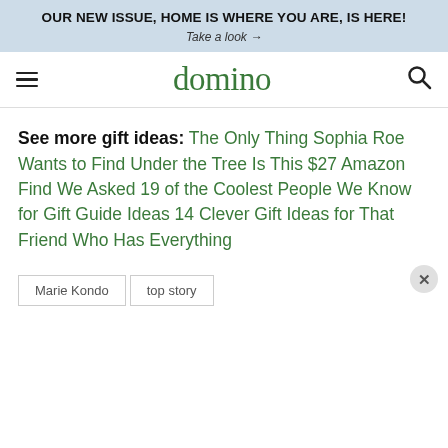OUR NEW ISSUE, HOME IS WHERE YOU ARE, IS HERE! Take a look →
domino
See more gift ideas: The Only Thing Sophia Roe Wants to Find Under the Tree Is This $27 Amazon Find We Asked 19 of the Coolest People We Know for Gift Guide Ideas 14 Clever Gift Ideas for That Friend Who Has Everything
Marie Kondo
top story